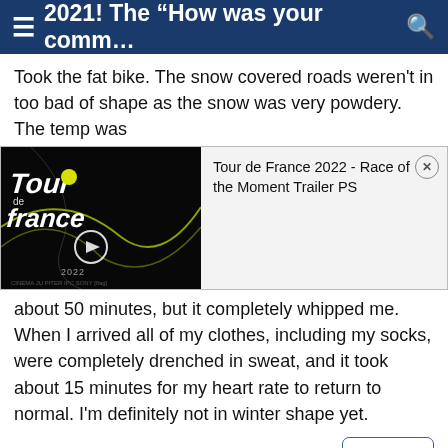≡ 2021! The "How was your comm... 🔍
Took the fat bike. The snow covered roads weren't in too bad of shape as the snow was very powdery. The temp was
[Figure (screenshot): Tour de France 2022 video thumbnail with play button on dark background, with ad card showing title 'Tour de France 2022 - Race of the Moment Trailer PS' and close button]
about 50 minutes, but it completely whipped me. When I arrived all of my clothes, including my socks, were completely drenched in sweat, and it took about 15 minutes for my heart rate to return to normal. I'm definitely not in winter shape yet.
Reply
#374